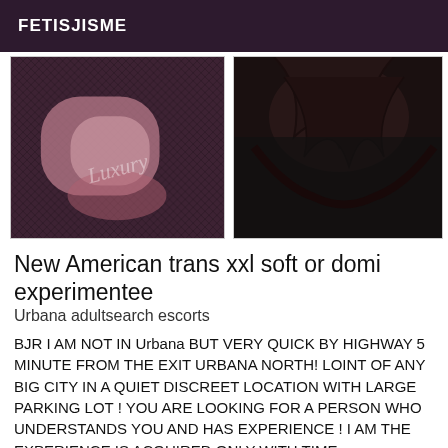FETISJISME
[Figure (photo): Close-up photo of a hand wearing fishnet stockings with decorative ring/jewelry, pink and dark tones]
[Figure (photo): Close-up photo of dark hair with black lace fabric, very dark tones]
New American trans xxl soft or domi experimentee
Urbana adultsearch escorts
BJR I AM NOT IN Urbana BUT VERY QUICK BY HIGHWAY 5 MINUTE FROM THE EXIT URBANA NORTH! LOINT OF ANY BIG CITY IN A QUIET DISCREET LOCATION WITH LARGE PARKING LOT ! YOU ARE LOOKING FOR A PERSON WHO UNDERSTANDS YOU AND HAS EXPERIENCE ! I AM THE EXPERIENCE IS ACQUIRED ONLY WITH TIME